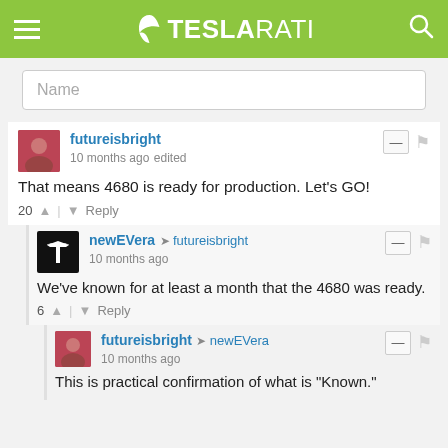TESLARATI
Name
futureisbright 10 months ago edited
That means 4680 is ready for production. Let's GO!
20 Reply
newEVera → futureisbright 10 months ago
We've known for at least a month that the 4680 was ready.
6 Reply
futureisbright → newEVera 10 months ago
This is practical confirmation of what is "Known."